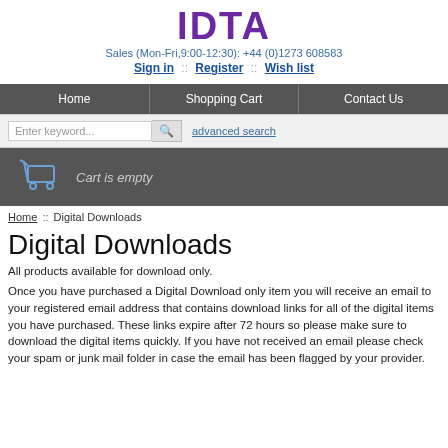IDTA
Sales (Mon-Fri,9:00-12:30): +44 (0)1273 608583
Sign in :: Register :: Wish list
[Figure (screenshot): Navigation bar with Home, Shopping Cart, Contact Us links on dark grey background]
[Figure (screenshot): Search bar with Enter keyword... input and advanced search link]
[Figure (screenshot): Shopping cart icon with 'Cart is empty' text on dark grey background]
Home :: Digital Downloads
Digital Downloads
All products available for download only.
Once you have purchased a Digital Download only item you will receive an email to your registered email address that contains download links for all of the digital items you have purchased. These links expire after 72 hours so please make sure to download the digital items quickly. If you have not received an email please check your spam or junk mail folder in case the email has been flagged by your provider.